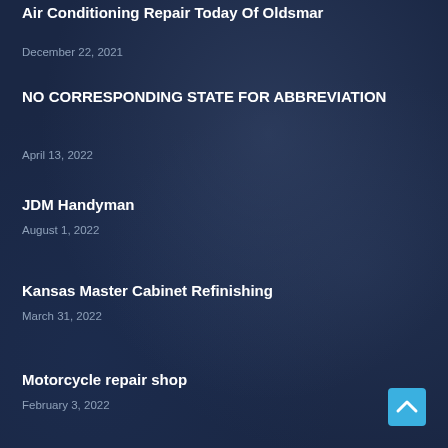Air Conditioning Repair Today Of Oldsmar
December 22, 2021
NO CORRESPONDING STATE FOR ABBREVIATION
April 13, 2022
JDM Handyman
August 1, 2022
Kansas Master Cabinet Refinishing
March 31, 2022
Motorcycle repair shop
February 3, 2022